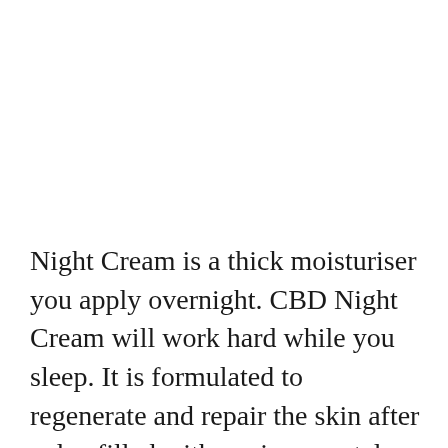Night Cream is a thick moisturiser you apply overnight. CBD Night Cream will work hard while you sleep. It is formulated to regenerate and repair the skin after a day filled with environmental aggressors. CBD Night Cream will nourish and protect your skin, making sure it is ready for the new day the next morning. CBD is not only an incredible moisturiser, it can also be used to treat back pain. Back pain can